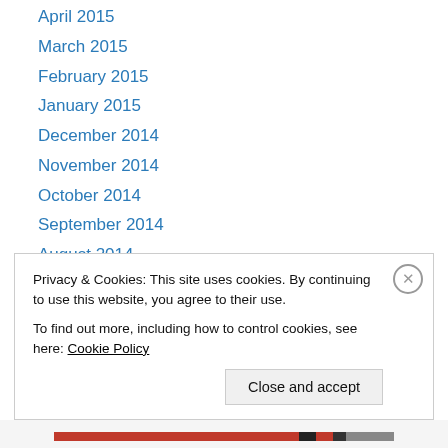April 2015
March 2015
February 2015
January 2015
December 2014
November 2014
October 2014
September 2014
August 2014
July 2014
June 2014
April 2014
March 2014
February 2014
Privacy & Cookies: This site uses cookies. By continuing to use this website, you agree to their use. To find out more, including how to control cookies, see here: Cookie Policy